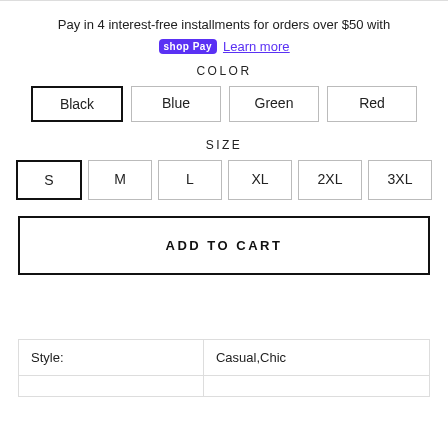Pay in 4 interest-free installments for orders over $50 with shop Pay Learn more
COLOR
Black  Blue  Green  Red
SIZE
S  M  L  XL  2XL  3XL
ADD TO CART
| Style: | Casual,Chic |
| --- | --- |